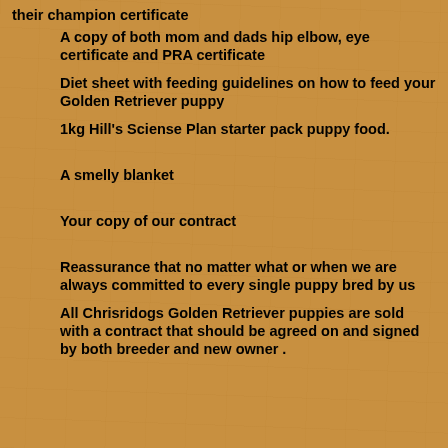their champion certificate
A copy of both mom and dads hip elbow, eye certificate and PRA certificate
Diet sheet with feeding guidelines on how to feed your Golden Retriever puppy
1kg Hill's Sciense Plan starter pack puppy food.
A smelly blanket
Your copy of our contract
Reassurance that no matter what or when we are always committed to every single puppy bred by us
All Chrisridogs Golden Retriever puppies are sold with a contract that should be agreed on and signed by both breeder and new owner .